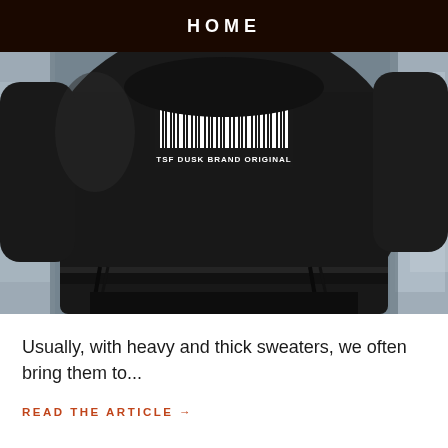HOME
[Figure (photo): A person wearing a black oversized hoodie/sweatshirt with a barcode graphic and text 'TSF DUSK BRAND ORIGINAL' printed on the chest. The background is blurred grey industrial setting.]
Usually, with heavy and thick sweaters, we often bring them to...
READ THE ARTICLE →